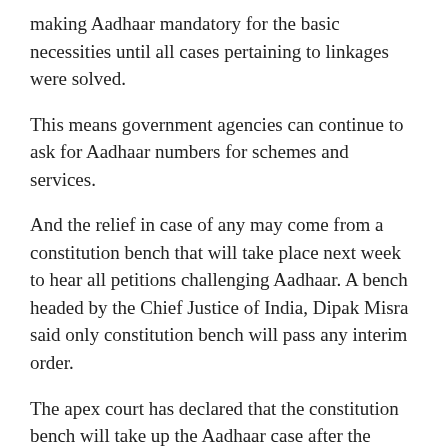making Aadhaar mandatory for the basic necessities until all cases pertaining to linkages were solved.
This means government agencies can continue to ask for Aadhaar numbers for schemes and services.
And the relief in case of any may come from a constitution bench that will take place next week to hear all petitions challenging Aadhaar. A bench headed by the Chief Justice of India, Dipak Misra said only constitution bench will pass any interim order.
The apex court has declared that the constitution bench will take up the Aadhaar case after the hearing in the Delhi – Centre dispute over administrative control of the national capital is over.
The bench said
“Let's see next week. Let the application be